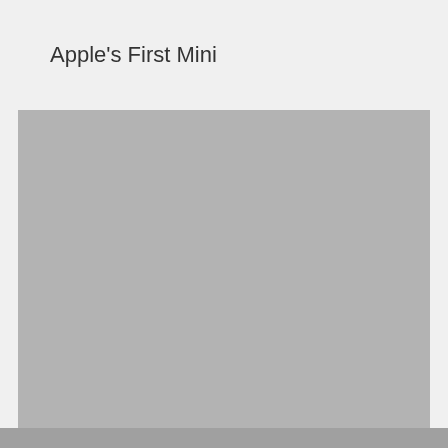Apple's First Mini
[Figure (photo): A large gray placeholder image area representing Apple's First Mini photo]